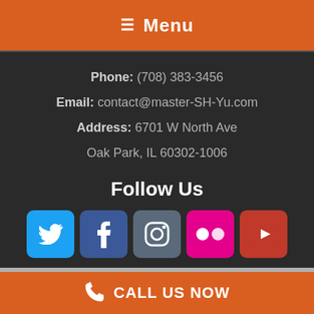≡ Menu
Phone: (708) 383-3456
Email: contact@master-SH-Yu.com
Address: 6701 W North Ave
Oak Park, IL 60302-1006
Follow Us
[Figure (infographic): Social media icon buttons: Twitter (blue), Facebook (dark blue), Instagram (grey-blue), Flickr (pink), YouTube (red)]
SIGN UP FOR OUR FREE NEWSLETTER!
CALL US NOW